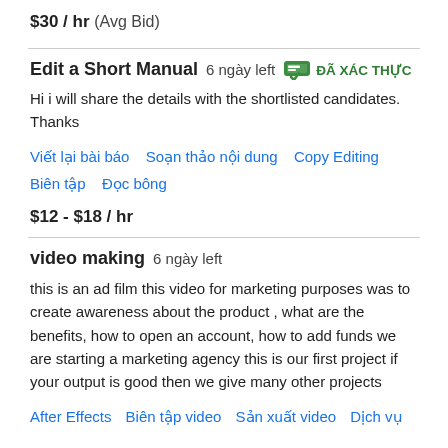$30 / hr  (Avg Bid)
Edit a Short Manual  6 ngày left  ĐÃ XÁC THỰC
Hi i will share the details with the shortlisted candidates. Thanks
Viết lại bài báo   Soạn thảo nội dung   Copy Editing   Biên tập   Đọc bông
$12 - $18 / hr
video making  6 ngày left
this is an ad film this video for marketing purposes was to create awareness about the product , what are the benefits, how to open an account, how to add funds we are starting a marketing agency this is our first project if your output is good then we give many other projects
After Effects   Biên tập video   Sản xuất video   Dịch vụ